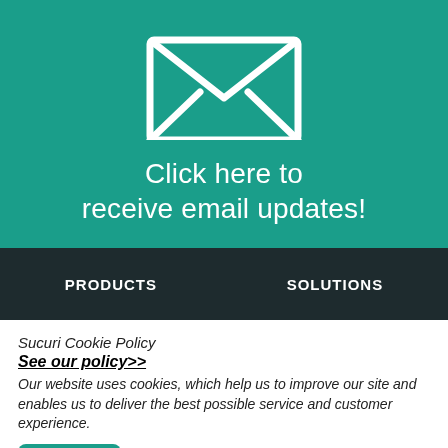[Figure (illustration): White envelope icon on teal/green background, showing an envelope with folded flap lines]
Click here to receive email updates!
PRODUCTS
SOLUTIONS
Sucuri Cookie Policy
See our policy>>
Our website uses cookies, which help us to improve our site and enables us to deliver the best possible service and customer experience.
ACCEPT    DECLINE    MANAGE OPTIONS